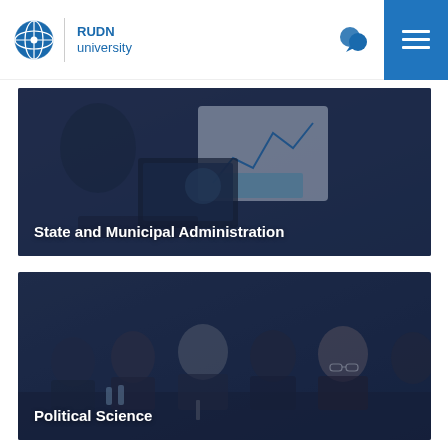[Figure (logo): RUDN University logo with globe icon and blue text]
[Figure (photo): Person reviewing charts and graphs at a desk with laptop and globe. Banner reads State and Municipal Administration.]
State and Municipal Administration
[Figure (photo): Group of professionals seated at a conference table. Banner reads Political Science.]
Political Science